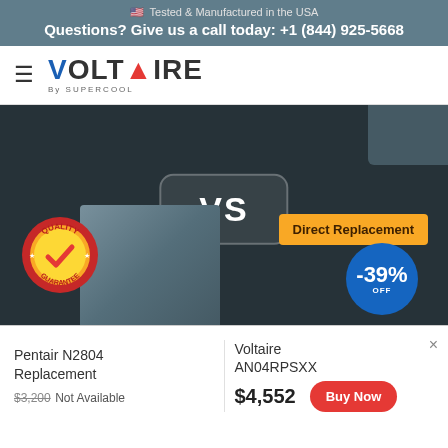🇺🇸 Tested & Manufactured in the USA
Questions? Give us a call today: +1 (844) 925-5668
[Figure (logo): Voltaire by Supercool logo with hamburger menu icon]
[Figure (photo): Hero comparison image showing VS badge, AC unit photo, Quality Guarantee badge, Direct Replacement badge, -39% OFF discount circle]
Pentair N2804 Replacement
$3,200 Not Available
Voltaire AN04RPSXX
$4,552
Buy Now